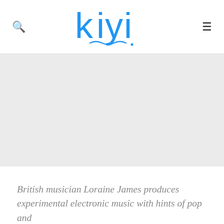kiyi
[Figure (photo): Large gray placeholder/hero image area below the navigation header]
British musician Loraine James produces experimental electronic music with hints of pop and